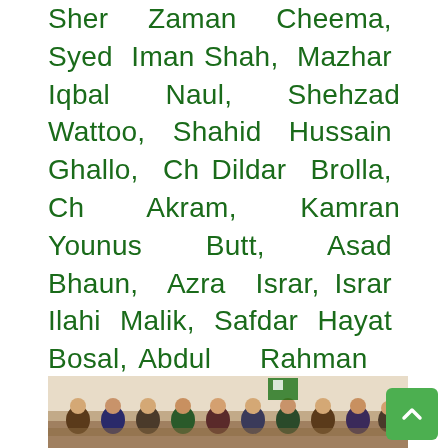Sher Zaman Cheema, Syed Iman Shah, Mazhar Iqbal Naul, Shehzad Wattoo, Shahid Hussain Ghallo, Ch Dildar Brolla, Ch Akram, Kamran Younus Butt, Asad Bhaun, Azra Israr, Israr Ilahi Malik, Safdar Hayat Bosal, Abdul Rahman Ranjha, Ashfaq Ahmad Naul, Ch Abdul Razzaq, Ishtiaq Gauhar, Rana Zulfiqar Ali, Mukhtar Ahmad Ranjha, G. Q. Alvi, Rana Mohsin Rabbani, Rana Naeem, Arif Mahmud Chaudhry, Rana Mohsin Rabbani, Ch Karamat Ali, Muneeb Arif Chaudhry, Haseeb Arif Hussain Chaudhry, Ch Zahid Ali, Muhammad Waseem Waqah, Qazi Shafiq and Imran Gondal. #
[Figure (photo): Group photo of people seated at a meeting or gathering, appears to be a formal indoor event]